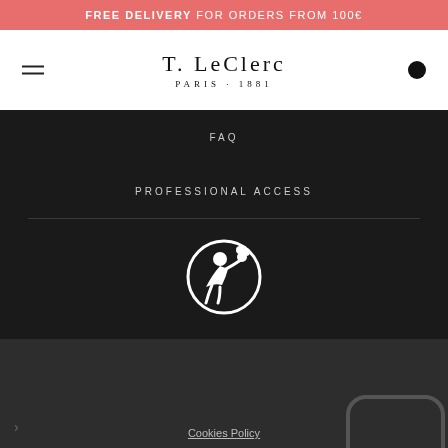FREE DELIVERY FOR ORDERS FROM 100€
[Figure (logo): T. LeClerc Paris 1881 logo with hamburger menu and cart dot]
FAQ
PROFESSIONAL ACCESS
[Figure (logo): T. LeClerc circular logo icon with figure]
Cookies Policy